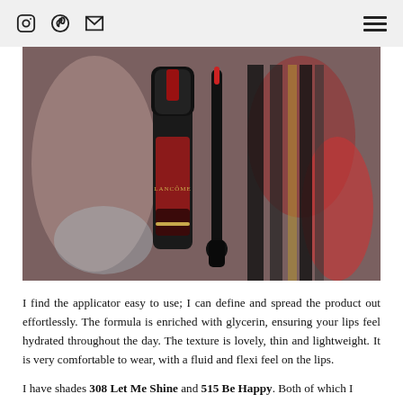Instagram icon, Pinterest icon, Email icon, Hamburger menu
[Figure (photo): Close-up photo of two Lancôme lip products — a dark red liquid lipstick tube and its applicator wand — displayed in front of other makeup products with blurred background.]
I find the applicator easy to use; I can define and spread the product out effortlessly.  The formula is enriched with glycerin, ensuring your lips feel hydrated throughout the day.  The texture is lovely, thin and lightweight.  It is very comfortable to wear, with a fluid and flexi feel on the lips.
I have shades 308 Let Me Shine and 515 Be Happy.  Both of which I really like...